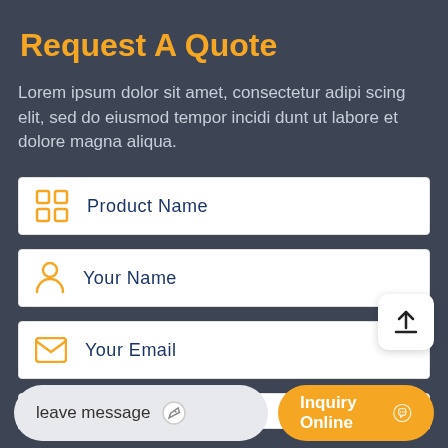Request A Quote
Lorem ipsum dolor sit amet, consectetur adipi scing elit, sed do eiusmod tempor incidi dunt ut labore et dolore magna aliqua.
Product Name
Your Name
Your Email
leave message
Inquiry Online